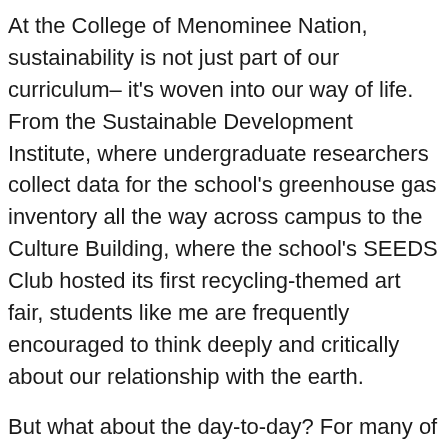At the College of Menominee Nation, sustainability is not just part of our curriculum– it's woven into our way of life. From the Sustainable Development Institute, where undergraduate researchers collect data for the school's greenhouse gas inventory all the way across campus to the Culture Building, where the school's SEEDS Club hosted its first recycling-themed art fair, students like me are frequently encouraged to think deeply and critically about our relationship with the earth.
But what about the day-to-day? For many of us, our first stop when getting to CMN's Keshena campus is the Campus Grind, the on-campus coffeehouse. There, not only can one enjoy a delicious fair-trade